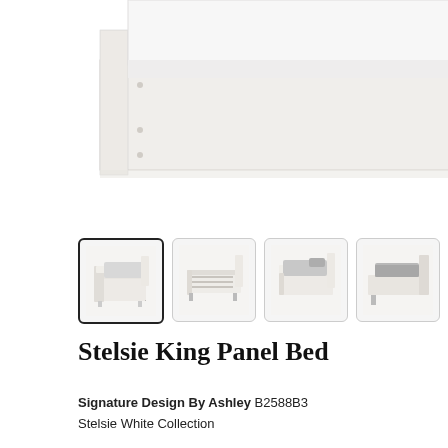[Figure (photo): Close-up partial view of a white king panel bed frame showing the footboard and side rails with a white mattress on top]
[Figure (photo): Thumbnail 1 (selected): Full view of Stelsie King Panel Bed from front-angle with gray bedding]
[Figure (photo): Thumbnail 2: Stelsie King Panel Bed from front showing metal slat support frame underneath, no mattress]
[Figure (photo): Thumbnail 3: Stelsie King Panel Bed from front-angle with gray bedding, straight-on view]
[Figure (photo): Thumbnail 4: Stelsie King Panel Bed side/angled view with gray bedding]
Stelsie King Panel Bed
Signature Design By Ashley B2588B3
Stelsie White Collection